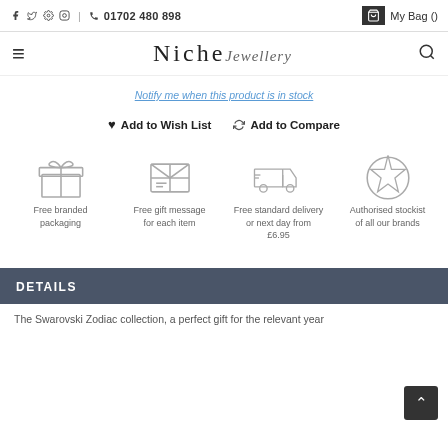f  Twitter  Pinterest  Instagram  |  Phone  01702 480 898   My Bag ()
Niche Jewellery
Notify me when this product is in stock
Add to Wish List   Add to Compare
[Figure (infographic): Four icons in a row: gift box (Free branded packaging), gift message card (Free gift message for each item), delivery truck (Free standard delivery or next day from £6.95), badge/star (Authorised stockist of all our brands)]
DETAILS
The Swarovski Zodiac collection, a perfect gift for the relevant year